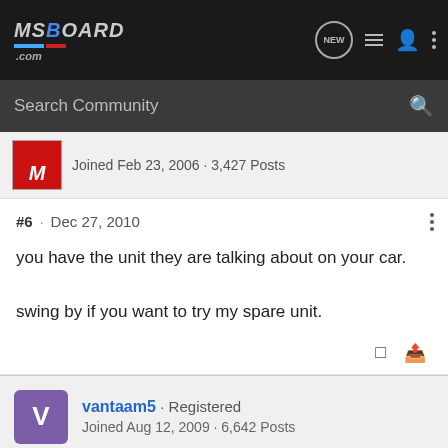MSBOARD.com
Search Community
Joined Feb 23, 2006 · 3,427 Posts
#6 · Dec 27, 2010
you have the unit they are talking about on your car.

swing by if you want to try my spare unit.
vantaam5 · Registered
Joined Aug 12, 2009 · 6,642 Posts